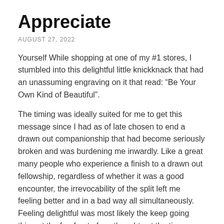Appreciate
AUGUST 27, 2022
Yourself While shopping at one of my #1 stores, I stumbled into this delightful little knickknack that had an unassuming engraving on it that read: “Be Your Own Kind of Beautiful”.
The timing was ideally suited for me to get this message since I had as of late chosen to end a drawn out companionship that had become seriously broken and was burdening me inwardly. Like a great many people who experience a finish to a drawn out fellowship, regardless of whether it was a good encounter, the irrevocability of the split left me feeling better and in a bad way all simultaneously. Feeling delightful was most likely the keep going thing at the forefront of my thoughts at the time on the grounds that the “fellowship had become absolutely that occasion…